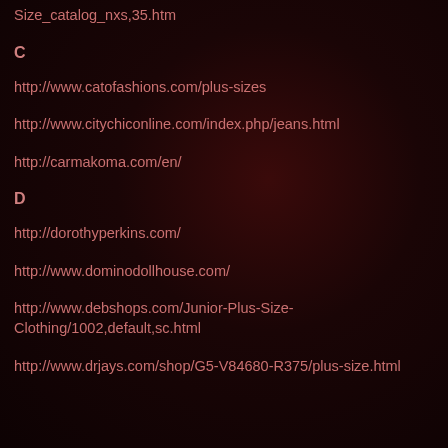Size_catalog_nxs,35.htm
C
http://www.catofashions.com/plus-sizes
http://www.citychiconline.com/index.php/jeans.html
http://carmakoma.com/en/
D
http://dorothyperkins.com/
http://www.dominodollhouse.com/
http://www.debshops.com/Junior-Plus-Size-Clothing/1002,default,sc.html
http://www.drjays.com/shop/G5-V84680-R375/plus-size.html